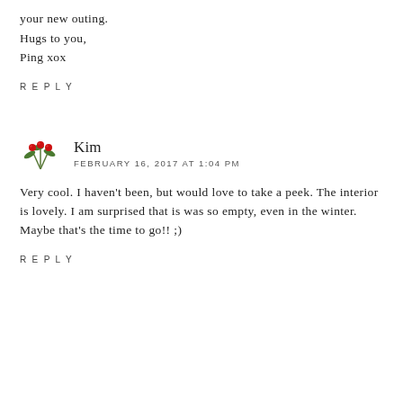your new outing.
Hugs to you,
Ping xox
REPLY
Kim
FEBRUARY 16, 2017 AT 1:04 PM
Very cool. I haven't been, but would love to take a peek. The interior is lovely. I am surprised that is was so empty, even in the winter. Maybe that's the time to go!! ;)
REPLY